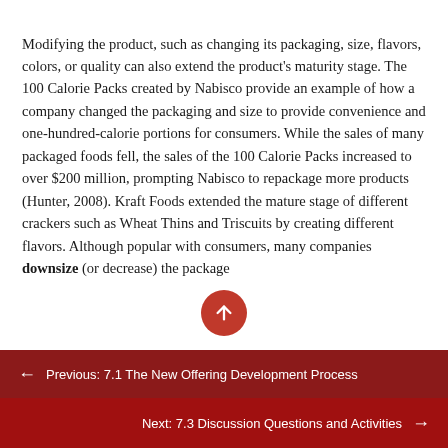Modifying the product, such as changing its packaging, size, flavors, colors, or quality can also extend the product's maturity stage. The 100 Calorie Packs created by Nabisco provide an example of how a company changed the packaging and size to provide convenience and one-hundred-calorie portions for consumers. While the sales of many packaged foods fell, the sales of the 100 Calorie Packs increased to over $200 million, prompting Nabisco to repackage more products (Hunter, 2008). Kraft Foods extended the mature stage of different crackers such as Wheat Thins and Triscuits by creating different flavors. Although popular with consumers, many companies downsize (or decrease) the package
← Previous: 7.1 The New Offering Development Process
Next: 7.3 Discussion Questions and Activities →